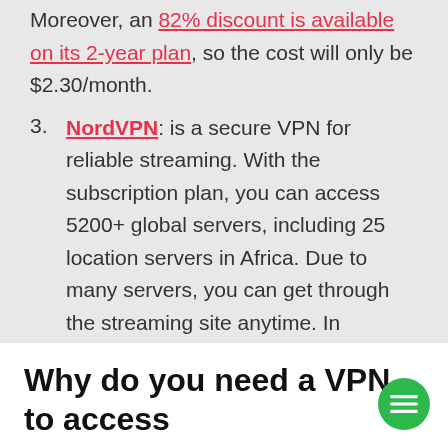Moreover, an 82% discount is available on its 2-year plan, so the cost will only be $2.30/month.
NordVPN: is a secure VPN for reliable streaming. With the subscription plan, you can access 5200+ global servers, including 25 location servers in Africa. Due to many servers, you can get through the streaming site anytime. In addition, you can save 70% off on its 2-year plan making the monthly rate $3.49.
Why do you need a VPN to access